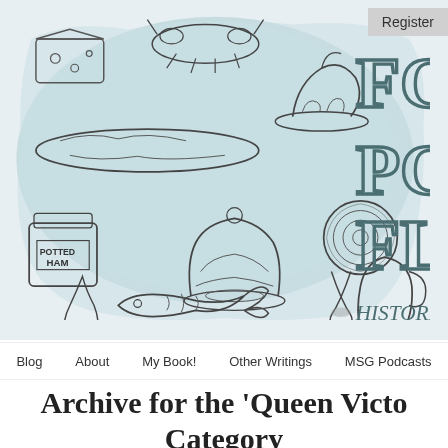[Figure (illustration): Watercolor banner illustration with light blue/teal wash background featuring pen-and-ink drawings of various foods: cheese, lobster/crayfish, roast bird on plate, baguette/bread loaf, potted ham tin, fancy pudding/jelly mold, rolled meat/Swiss roll, pear, fish, wine glass, pitcher/jug. On the right side, large sketched block letters partially visible spelling 'FO', 'PO', 'FL', and 'HISTORI' (part of a title or logo). A 'Register' button overlays the top right corner.]
Register
Blog | About | My Book! | Other Writings | MSG Podcasts
Archive for the 'Queen Victo… Category